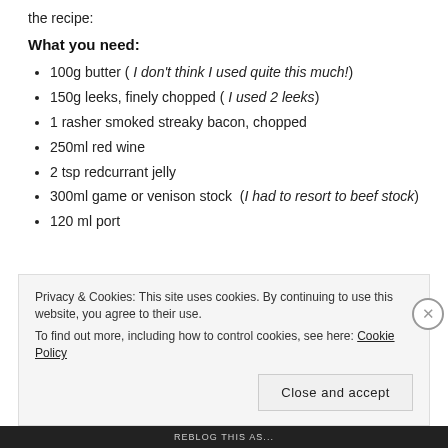the recipe:
What you need:
100g butter ( I don't think I used quite this much!)
150g leeks, finely chopped ( I used 2 leeks)
1 rasher smoked streaky bacon, chopped
250ml red wine
2 tsp redcurrant jelly
300ml game or venison stock  (I had to resort to beef stock)
120 ml port
Privacy & Cookies: This site uses cookies. By continuing to use this website, you agree to their use.
To find out more, including how to control cookies, see here: Cookie Policy
Close and accept